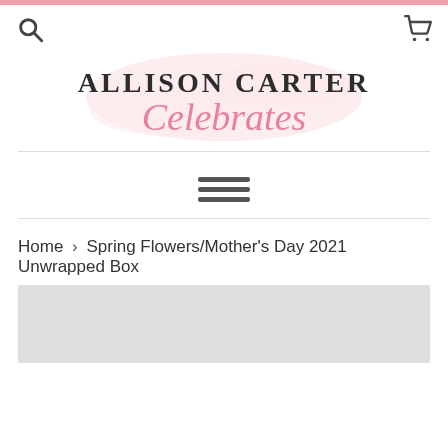Allison Carter Celebrates - website header with pink top bar, search icon, cart icon, logo
[Figure (logo): Allison Carter Celebrates logo with pink brushstroke background. Top line: ALLISON CARTER in bold serif. Bottom line: Celebrates in pink cursive/script font.]
[Figure (other): Hamburger menu icon with three horizontal dark gray lines]
Home › Spring Flowers/Mother's Day 2021 Unwrapped Box
[Figure (photo): Partially visible product image with light gray/white background at bottom of page]